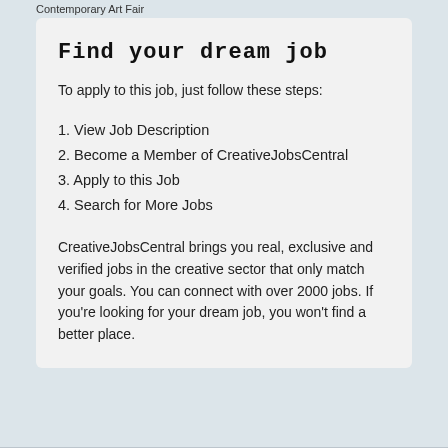Contemporary Art Fair
Find your dream job
To apply to this job, just follow these steps:
1. View Job Description
2. Become a Member of CreativeJobsCentral
3. Apply to this Job
4. Search for More Jobs
CreativeJobsCentral brings you real, exclusive and verified jobs in the creative sector that only match your goals. You can connect with over 2000 jobs. If you're looking for your dream job, you won't find a better place.